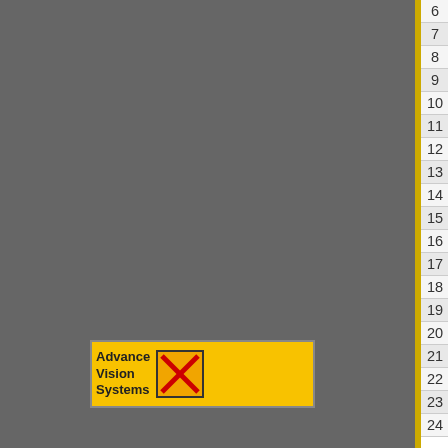| # | Reference |
| --- | --- |
| 6 | Thongklang N, Luangharn T (2016). Testi… |
| 7 | Chomnunti P, Boonmee S, Hongsanan S, D… |
| 8 | Jayawardena RS, Hyde KD, Jeewon R, Wa… |
| 9 | Hyde KD, Xu J, Rapior S, Jeewon R, Lum… |
| 10 | Thongklang N, Keokanngeun L, Taliam W… |
| 11 | Tang SM, He MQ, Rasp? O, Luo X, Zhang… |
| 12 | Sysouphanthong P, Thongklang N*, Karun… |
| 13 | Hyde KD, Jeewon R, Chen YJ, Bhunjun C… |
| 14 | Niego AG, Sysouphanthong P, Thongklang… |
| 15 | Niego AG, Rasp? O, Thongklang N, Charc… |
| 16 | Li H, Tian Y, Menolli N Jr, Ye L, Karunara… |
| 17 | Raghoonundon B, Rasp? O, Thongklang N… |
| 18 | Niego AG, Rapior S, Thongklang N, Rasp?… |
| 19 | Hu Y, Mortimer PE, Hyde KD, Kakumyan… |
| 20 | Phonemany M, Rasp? O, Sysouphanthong… |
| 21 | Phonemany M, Raghoonundon B, Luangha… |
| 22 | Raghoonundon B, Gonkhom D, Phonemar… |
| 23 | Boonmee S, Wanasinghe DN, Calabon MS… |
| 24 | Sysouphanthong P, Thongklang N*, Liu Jh… |
[Figure (logo): Advance Vision Systems logo with red X icon on yellow background]
to top of page 🔼
contact staff : REG@MFU.AC.TH